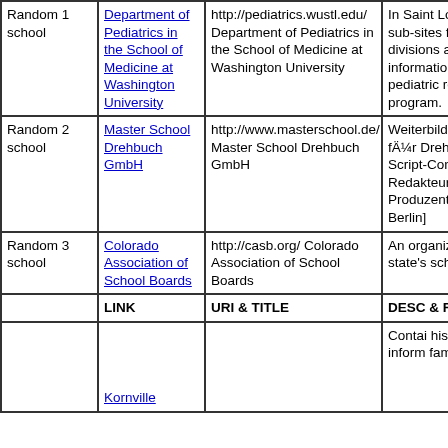|  | LINK | URI & TITLE | DESC & Rev |
| --- | --- | --- | --- |
| Random 1 school | Department of Pediatrics in the School of Medicine at Washington University | http://pediatrics.wustl.edu/ Department of Pediatrics in the School of Medicine at Washington University | In Saint Louis f sub-sites for sev divisions as wel information on t pediatric residen program. |
| Random 2 school | Master School Drehbuch GmbH | http://www.masterschool.de/ Master School Drehbuch GmbH | Weiterbildungsa für Drehbuch Script-Consulta Redakteure und Produzenten. [D Berlin] |
| Random 3 school | Colorado Association of School Boards | http://casb.org/ Colorado Association of School Boards | An organization state's school bo |
|  | LINK | URI & TITLE | DESC & Rev |
|  | Kornville |  | Contai histori inform family |